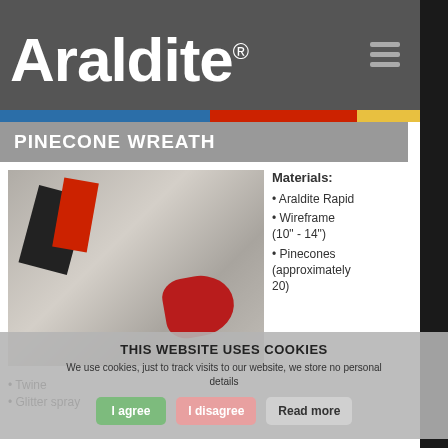Araldite®
PINECONE WREATH
[Figure (photo): Photo of pinecone wreath materials: Araldite Rapid boxes, pinecones, a wire frame, twine, green label, and a red ribbon bow on a white surface]
Materials:
Araldite Rapid
Wireframe (10" - 14")
Pinecones (approximately 20)
Twine
Glitter spray
THIS WEBSITE USES COOKIES
We use cookies, just to track visits to our website, we store no personal details
BACK_TO_TOP ▶